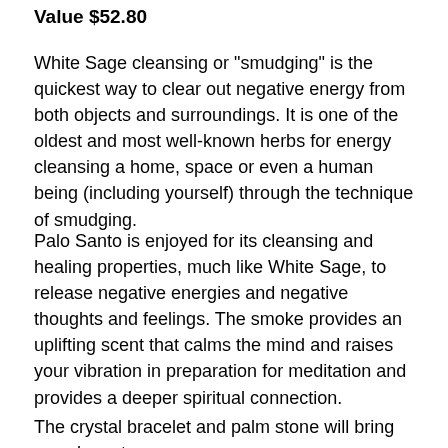Value $52.80
White Sage cleansing or "smudging" is the quickest way to clear out negative energy from both objects and surroundings. It is one of the oldest and most well-known herbs for energy cleansing a home, space or even a human being (including yourself) through the technique of smudging.
Palo Santo is enjoyed for its cleansing and healing properties, much like White Sage, to release negative energies and negative thoughts and feelings. The smoke provides an uplifting scent that calms the mind and raises your vibration in preparation for meditation and provides a deeper spiritual connection.
The crystal bracelet and palm stone will bring you closer to a